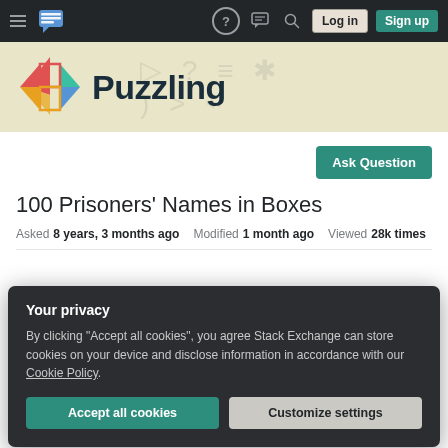Puzzling Stack Exchange navigation bar with Log in and Sign up buttons
[Figure (logo): Puzzling Stack Exchange logo with diamond icon and site name 'Puzzling']
Ask Question
100 Prisoners' Names in Boxes
Asked 8 years, 3 months ago   Modified 1 month ago   Viewed 28k times
Your privacy
By clicking "Accept all cookies", you agree Stack Exchange can store cookies on your device and disclose information in accordance with our Cookie Policy.
Accept all cookies
Customize settings
One by one, the prisoners are led into